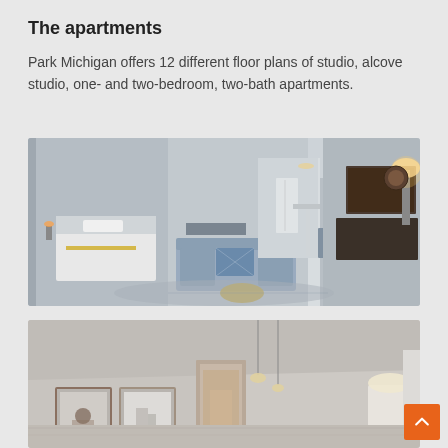The apartments
Park Michigan offers 12 different floor plans of studio, alcove studio, one- and two-bedroom, two-bath apartments.
[Figure (photo): Panoramic interior photo of a modern apartment showing living room with gray sofa, decorative pillows, bedroom area with white bedding, kitchen with refrigerator and bar seating, and entertainment area with flat screen TV on dark console. Open floor plan with neutral colors.]
[Figure (photo): Panoramic interior photo of another apartment unit showing living/dining area with high ceilings, pendant lights, framed artwork on walls, and a view into the kitchen area.]